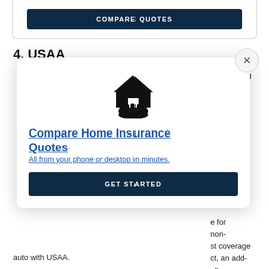[Figure (screenshot): COMPARE QUOTES dark navy button inside a card]
4. USAA
...bers and t...nown as s...s. D...c...including c...
[Figure (illustration): Modal popup with house/hand icon, Compare Home Insurance Quotes link, subtitle 'All from your phone or desktop in minutes.', and GET STARTED button. X close button top right.]
...e for non-...st coverage ...ct, an add-...all. ...home and auto with USAA.